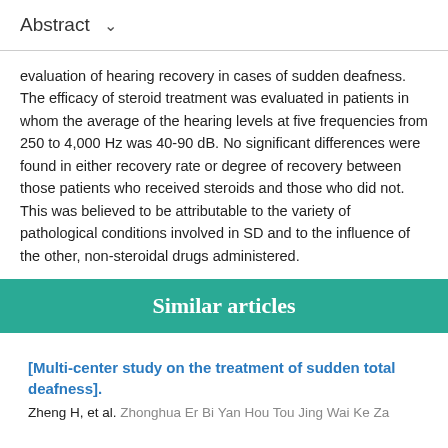Abstract
evaluation of hearing recovery in cases of sudden deafness. The efficacy of steroid treatment was evaluated in patients in whom the average of the hearing levels at five frequencies from 250 to 4,000 Hz was 40-90 dB. No significant differences were found in either recovery rate or degree of recovery between those patients who received steroids and those who did not. This was believed to be attributable to the variety of pathological conditions involved in SD and to the influence of the other, non-steroidal drugs administered.
Similar articles
[Multi-center study on the treatment of sudden total deafness].
Zheng H, et al. Zhonghua Er Bi Yan Hou Tou Jing Wai Ke Za